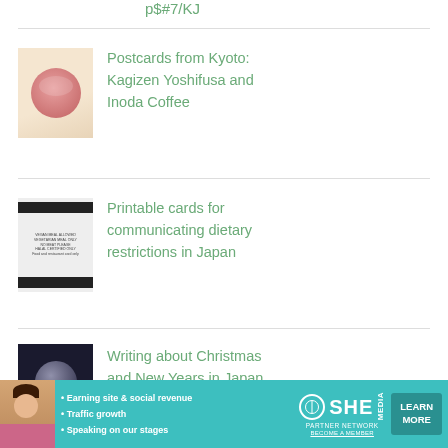p$#7/KJ
Postcards from Kyoto: Kagizen Yoshifusa and Inoda Coffee
Printable cards for communicating dietary restrictions in Japan
Writing about Christmas and New Years in Japan
[Figure (photo): Ad banner for SHE Media Partner Network with text: Earning site & social revenue, Traffic growth, Speaking on our stages. LEARN MORE button.]